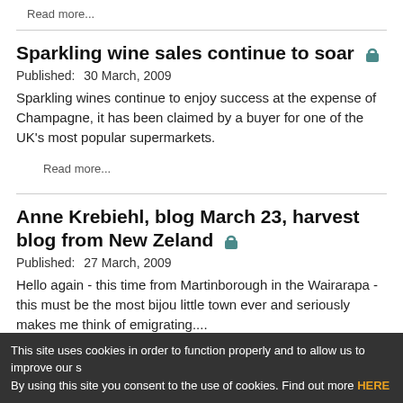Read more...
Sparkling wine sales continue to soar 🔒
Published:  30 March, 2009
Sparkling wines continue to enjoy success at the expense of Champagne, it has been claimed by a buyer for one of the UK's most popular supermarkets.
Read more...
Anne Krebiehl, blog March 23, harvest blog from New Zeland 🔒
Published:  27 March, 2009
Hello again - this time from Martinborough in the Wairarapa - this must be the most bijou little town ever and seriously makes me think of emigrating....
This site uses cookies in order to function properly and to allow us to improve our s By using this site you consent to the use of cookies. Find out more HERE